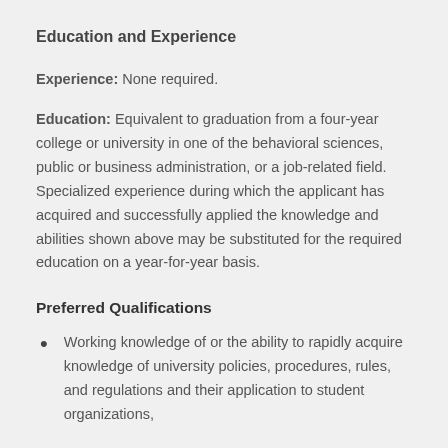Education and Experience
Experience: None required.
Education: Equivalent to graduation from a four-year college or university in one of the behavioral sciences, public or business administration, or a job-related field. Specialized experience during which the applicant has acquired and successfully applied the knowledge and abilities shown above may be substituted for the required education on a year-for-year basis.
Preferred Qualifications
Working knowledge of or the ability to rapidly acquire knowledge of university policies, procedures, rules, and regulations and their application to student organizations,